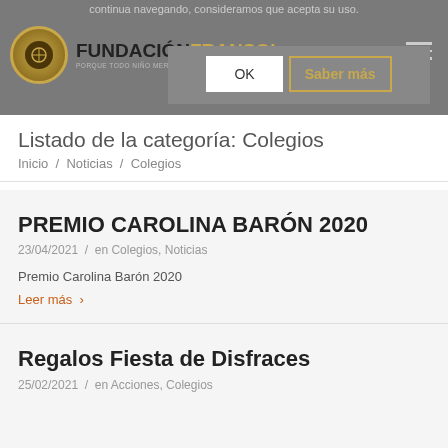continua navegando, consideramos que acepta su uso.
[Figure (logo): Fundación Fransol logo with circular gold emblem and text]
OK | Saber más (cookie consent dialog)
Listado de la categoría: Colegios
Inicio / Noticias / Colegios
PREMIO CAROLINA BARÓN 2020
23/04/2021 / en Colegios, Noticias
Premio Carolina Barón 2020
Leer más
Regalos Fiesta de Disfraces
25/02/2021 / en Acciones, Colegios